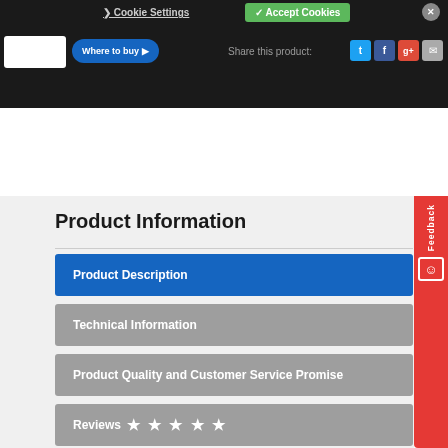[Figure (screenshot): Website top bar with Cookie Settings and Accept Cookies buttons, navigation bar with Where to Buy button and Share this product social icons (Twitter, Facebook, Google+, Email)]
Product Information
Product Description
Technical Information
Product Quality and Customer Service Promise
Reviews ★ ★ ★ ★ ★
This 100 Sheet Heavy Duty stapler, made from a high level of recycled plastic, makes effortless work